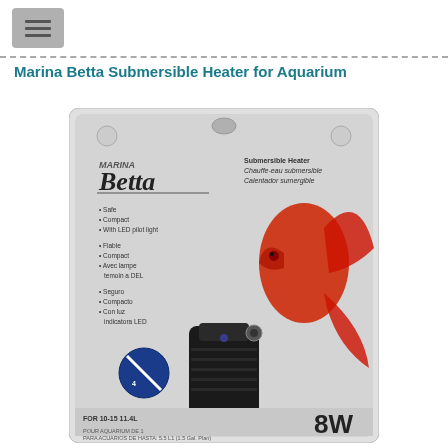Marina Betta Submersible Heater for Aquarium
[Figure (photo): Product photo of Marina Betta Submersible Heater for Aquarium packaging. The package shows a small black cylindrical 8W aquarium heater with a suction cup, a red betta fish graphic, and multilingual text listing features: Safe, Compact, with LED pilot light (English), Fiable, Compact, Avec lampe temoin a DEL (French), Seguro, Compacto, Con luz indicatora LED (Spanish). The package also shows '8W' prominently and 'FOR 10-15-11.4L' aquarium sizing text at the bottom.]